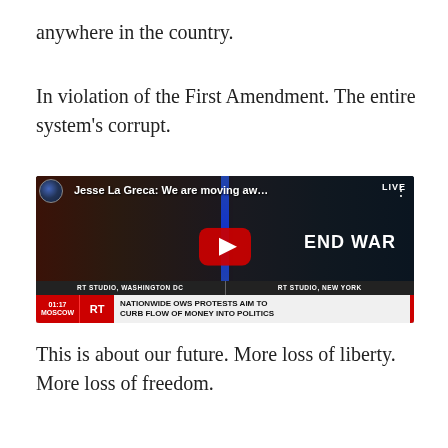anywhere in the country.
In violation of the First Amendment. The entire system's corrupt.
[Figure (screenshot): YouTube video thumbnail showing two people in an RT studio news segment. Left person is a woman in a black sleeveless top; right person is a man wearing a black cap and a shirt reading 'END WAR'. A large red YouTube play button is centered. The video title reads 'Jesse La Greca: We are moving aw...' with a LIVE badge top right. Bottom ticker bar reads: '01:17 MOSCOW | RT | NATIONWIDE OWS PROTESTS AIM TO CURB FLOW OF MONEY INTO POLITICS'. Location bars show 'RT STUDIO, WASHINGTON DC' and 'RT STUDIO, NEW YORK'.]
This is about our future. More loss of liberty. More loss of freedom.